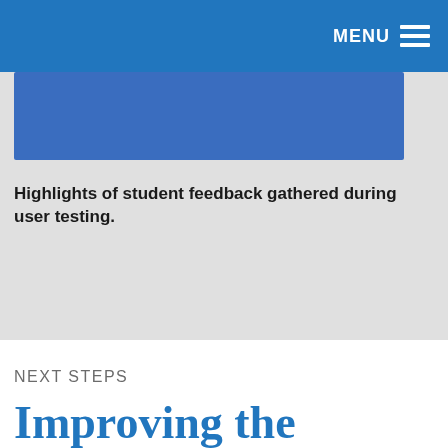MENU
[Figure (other): Blue card/image placeholder in gray section]
Highlights of student feedback gathered during user testing.
NEXT STEPS
Improving the Online Experience